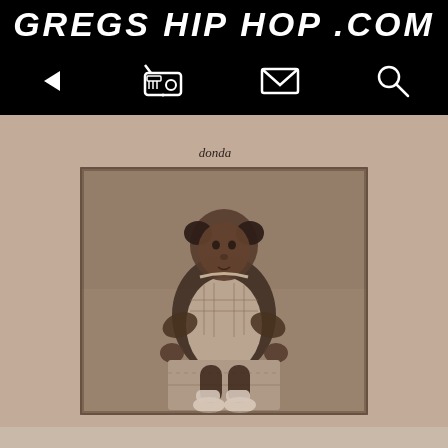GREGS HIP HOP .COM
[Figure (screenshot): Navigation bar with back arrow, radio icon, envelope/mail icon, and search/magnifying glass icon on black background]
[Figure (photo): Album cover for Kanye West's 'Donda' — a vintage sepia-toned photograph of a young Black toddler girl sitting on a box, wearing a plaid dress with white apron and white shoes, with the handwritten word 'donda' above the photo, set against a tan/beige background]